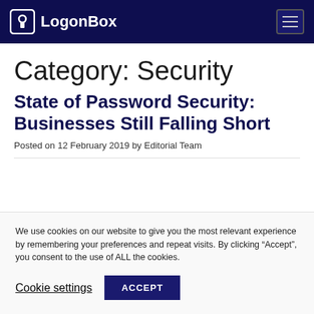LogonBox
Category: Security
State of Password Security: Businesses Still Falling Short
Posted on 12 February 2019 by Editorial Team
We use cookies on our website to give you the most relevant experience by remembering your preferences and repeat visits. By clicking “Accept”, you consent to the use of ALL the cookies.
Cookie settings   ACCEPT